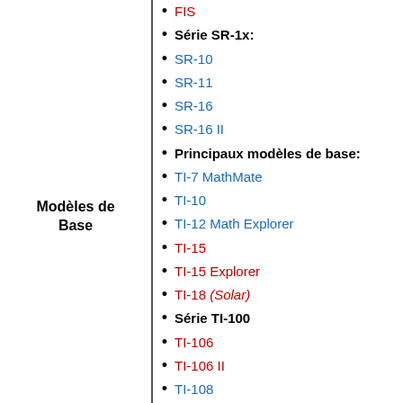FIS
Série SR-1x:
SR-10
SR-11
SR-16
SR-16 II
Modèles de Base
Principaux modèles de base:
TI-7 MathMate
TI-10
TI-12 Math Explorer
TI-15
TI-15 Explorer
TI-18 (Solar)
Série TI-100
TI-106
TI-106 II
TI-108
Série TI-1000